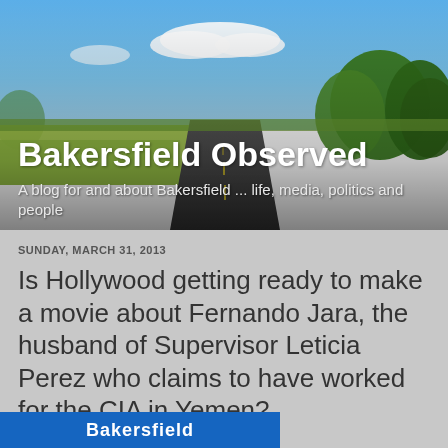[Figure (photo): Header image of a road stretching into the distance with a blue sky, white clouds, green trees on the right, and grassy fields on the left. A warm sunny day landscape.]
Bakersfield Observed
A blog for and about Bakersfield ... life, media, politics and people
SUNDAY, MARCH 31, 2013
Is Hollywood getting ready to make a movie about Fernando Jara, the husband of Supervisor Leticia Perez who claims to have worked for the CIA in Yemen?
[Figure (logo): Blue banner at the bottom partially visible, appears to be a Bakersfield logo or advertisement banner.]